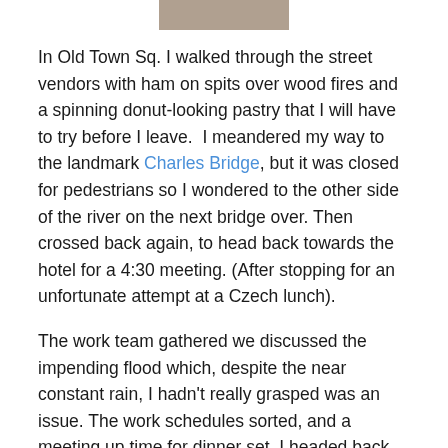[Figure (photo): Partial photo visible at top of page, appears to be an animal (possibly a cat or similar)]
In Old Town Sq. I walked through the street vendors with ham on spits over wood fires and a spinning donut-looking pastry that I will have to try before I leave.  I meandered my way to the landmark Charles Bridge, but it was closed for pedestrians so I wondered to the other side of the river on the next bridge over. Then crossed back again, to head back towards the hotel for a 4:30 meeting. (After stopping for an unfortunate attempt at a Czech lunch).
The work team gathered we discussed the impending flood which, despite the near constant rain, I hadn't really grasped was an issue. The work schedules sorted, and a meeting up time for dinner set, I headed back out to explore this storm situation. Not before stopping in the lobby to take advantage of the hotel's goldfish loan. I